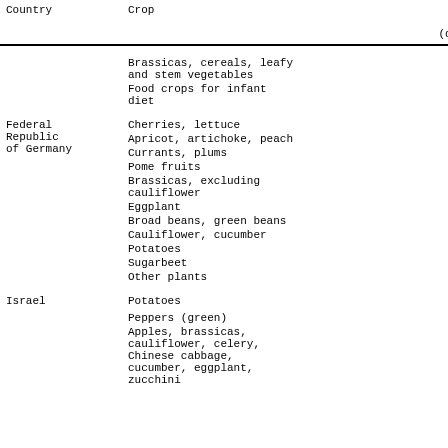| Country | Crop | Pre-harvest Interval (days) |
| --- | --- | --- |
|  | Brassicas, cereals, leafy and stem vegetables | 21 |
|  | Food crops for infant diet | 28 |
| Federal Republic of Germany | Cherries, lettuce | 4 |
|  | Apricot, artichoke, peach |  |
|  | Currants, plums |  |
|  | Pome fruits | 4 |
|  | Brassicas, excluding cauliflower | 4 |
|  | Eggplant |  |
|  | Broad beans, green beans | 4 |
|  | Cauliflower, cucumber |  |
|  | Potatoes | 14 |
|  | Sugarbeet |  |
|  | Other plants |  |
| Israel | Potatoes | 4 1 |
|  | Peppers (green) | 5 |
|  | Apples, brassicas, cauliflower, celery, Chinese cabbage, cucumber, eggplant, zucchini | 7 |